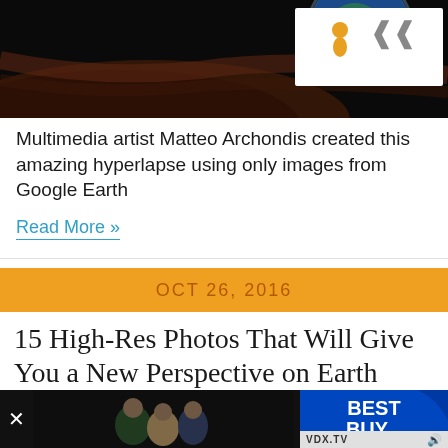[Figure (photo): Space/Earth photo at top of page with dark background and a globe visible, with a street view interface overlay showing a person icon and chevron arrows]
Multimedia artist Matteo Archondis created this amazing hyperlapse using only images from Google Earth
Read More »
OCT 26, 2016
15 High-Res Photos That Will Give You a New Perspective on Earth
[Figure (photo): Aerial/satellite view of urban grid with streets and buildings from above]
[Figure (screenshot): Video advertisement overlay at the bottom showing Best Buy ad with VDX.TV label and people in the background]